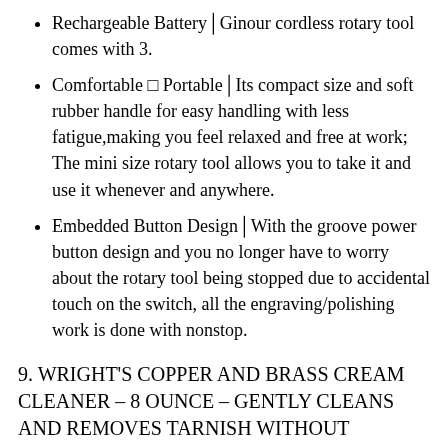Rechargeable Battery│Ginour cordless rotary tool comes with 3.
Comfortable □ Portable│Its compact size and soft rubber handle for easy handling with less fatigue,making you feel relaxed and free at work; The mini size rotary tool allows you to take it and use it whenever and anywhere.
Embedded Button Design│With the groove power button design and you no longer have to worry about the rotary tool being stopped due to accidental touch on the switch, all the engraving/polishing work is done with nonstop.
9. WRIGHT'S COPPER AND BRASS CREAM CLEANER – 8 OUNCE – GENTLY CLEANS AND REMOVES TARNISH WITHOUT SCRATCHING